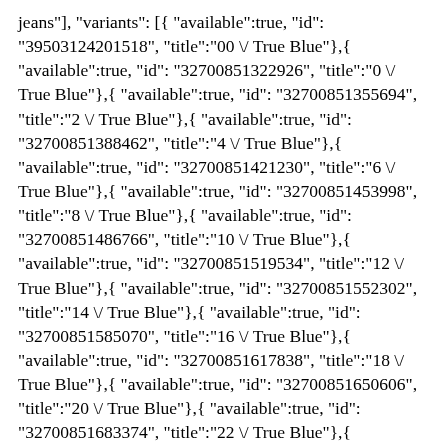jeans"], "variants": [{ "available":true, "id": "39503124201518", "title":"00 \/ True Blue"},{ "available":true, "id": "32700851322926", "title":"0 \/ True Blue"},{ "available":true, "id": "32700851355694", "title":"2 \/ True Blue"},{ "available":true, "id": "32700851388462", "title":"4 \/ True Blue"},{ "available":true, "id": "32700851421230", "title":"6 \/ True Blue"},{ "available":true, "id": "32700851453998", "title":"8 \/ True Blue"},{ "available":true, "id": "32700851486766", "title":"10 \/ True Blue"},{ "available":true, "id": "32700851519534", "title":"12 \/ True Blue"},{ "available":true, "id": "32700851552302", "title":"14 \/ True Blue"},{ "available":true, "id": "32700851585070", "title":"16 \/ True Blue"},{ "available":true, "id": "32700851617838", "title":"18 \/ True Blue"},{ "available":true, "id": "32700851650606", "title":"20 \/ True Blue"},{ "available":true, "id": "32700851683374", "title":"22 \/ True Blue"},{ "available":true, "id": "32700851716142", "title":"24 \/ True Blue"},{ "available":true, "id": "32700851748910", "title":"26 \/ True Blue"},{ "available":true, "id": "32700851781678", "title":"28 \/ True Blue"},{ "available":true, "id": "32700851814446", "title":"30 \/ True Blue"},{ "available":true, "id": "32700851847214", "title":"32 \/ True Blue"},{ "available":true, "id": "32700851879982", "title":"34 \/ True Blue"},{ "available":true, "id": "32700851912750", "title":"36 \/ True Blue"},{ "available":true, "id": "32700851945518", "title":"38 \/